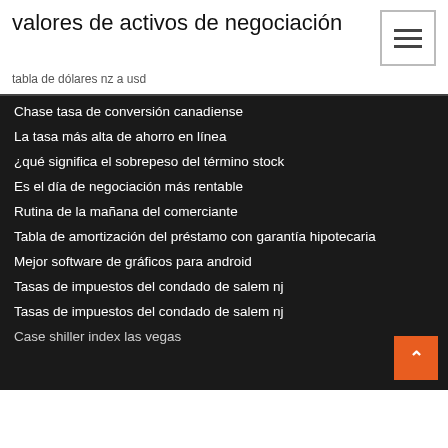valores de activos de negociación
tabla de dólares nz a usd
Chase tasa de conversión canadiense
La tasa más alta de ahorro en línea
¿qué significa el sobrepeso del término stock
Es el día de negociación más rentable
Rutina de la mañana del comerciante
Tabla de amortización del préstamo con garantía hipotecaria
Mejor software de gráficos para android
Tasas de impuestos del condado de salem nj
Tasas de impuestos del condado de salem nj
Case shiller index las vegas